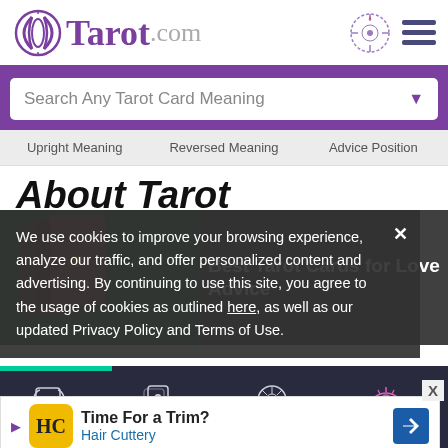Tarot.com
Search Any Tarot Card Meaning
Upright Meaning   Reversed Meaning   Advice Position
About Tarot
[Figure (screenshot): Article thumbnail showing tarot cards with text 'Best Tarot Cards for Love Advice']
We use cookies to improve your browsing experience, analyze our traffic, and offer personalized content and advertising. By continuing to use this site, you agree to the usage of cookies as outlined here, as well as our updated Privacy Policy and Terms of Use.
[Figure (infographic): Advertisement banner: Hair Cuttery - Time For a Trim?]
Readings   Cards & Decks   Birth Chart   Psychic Advice